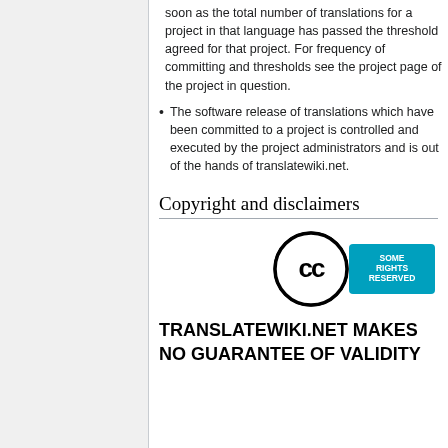soon as the total number of translations for a project in that language has passed the threshold agreed for that project. For frequency of committing and thresholds see the project page of the project in question.
The software release of translations which have been committed to a project is controlled and executed by the project administrators and is out of the hands of translatewiki.net.
Copyright and disclaimers
[Figure (logo): Creative Commons Some Rights Reserved logo - circular CC badge in black and white with blue 'SOME RIGHTS RESERVED' banner]
TRANSLATEWIKI.NET MAKES NO GUARANTEE OF VALIDITY